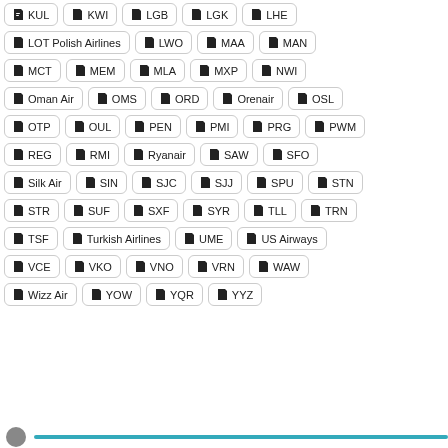KUL KWI LGB LGK LHE
LOT Polish Airlines LWO MAA MAN
MCT MEM MLA MXP NWI
Oman Air OMS ORD Orenair OSL
OTP OUL PEN PMI PRG PWM
REG RMI Ryanair SAW SFO
Silk Air SIN SJC SJJ SPU STN
STR SUF SXF SYR TLL TRN
TSF Turkish Airlines UME US Airways
VCE VKO VNO VRN WAW
Wizz Air YOW YQR YYZ